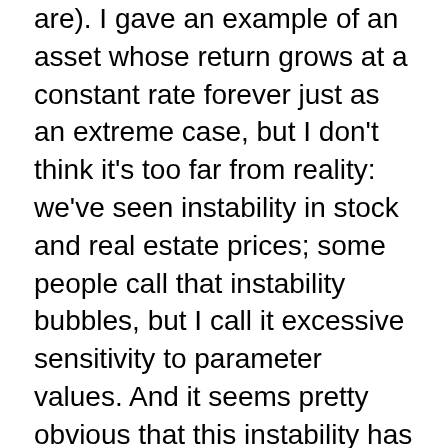are). I gave an example of an asset whose return grows at a constant rate forever just as an extreme case, but I don't think it's too far from reality: we've seen instability in stock and real estate prices; some people call that instability bubbles, but I call it excessive sensitivity to parameter values. And it seems pretty obvious that this instability has important real effects.
Nick,
"If government spending and/or taxes change, it's fiscal."
"Government spending" is an